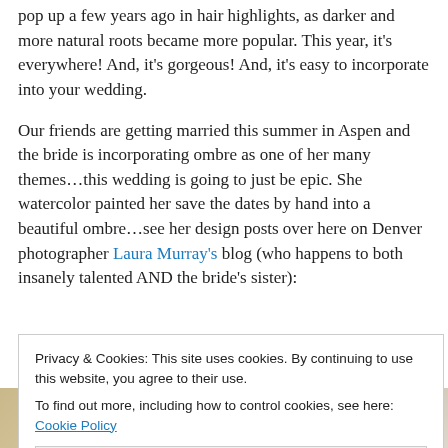pop up a few years ago in hair highlights, as darker and more natural roots became more popular. This year, it's everywhere! And, it's gorgeous! And, it's easy to incorporate into your wedding.
Our friends are getting married this summer in Aspen and the bride is incorporating ombre as one of her many themes…this wedding is going to just be epic. She watercolor painted her save the dates by hand into a beautiful ombre…see her design posts over here on Denver photographer Laura Murray's blog (who happens to both insanely talented AND the bride's sister):
Privacy & Cookies: This site uses cookies. By continuing to use this website, you agree to their use. To find out more, including how to control cookies, see here: Cookie Policy
Close and accept
[Figure (photo): Two partial wedding-related photos visible at the bottom of the page]